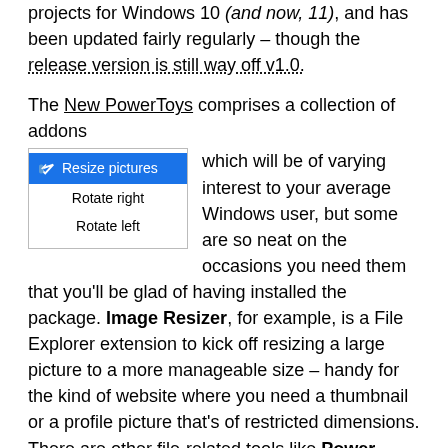projects for Windows 10 (and now, 11), and has been updated fairly regularly – though the release version is still way off v1.0.
The New PowerToys comprises a collection of addons which will be of varying interest to your average Windows user, but some are so neat on the occasions you need them that you'll be glad of having installed the package. Image Resizer, for example, is a File Explorer extension to kick off resizing a large picture to a more manageable size – handy for the kind of website where you need a thumbnail or a profile picture that's of restricted dimensions. There are other file-related tools like Power Rename, as well as power usage, window-handling and a whole lot more.
[Figure (screenshot): Windows context menu UI showing 'Resize pictures' highlighted in blue, 'Rotate right', and 'Rotate left' options]
Of particular interest (and most recent) are utilities to do with your mouse – how many times have you tried to find the location of your pointer (especially if you have